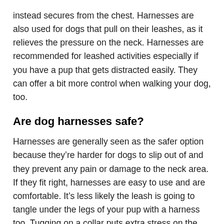instead secures from the chest. Harnesses are also used for dogs that pull on their leashes, as it relieves the pressure on the neck. Harnesses are recommended for leashed activities especially if you have a pup that gets distracted easily. They can offer a bit more control when walking your dog, too.
Are dog harnesses safe?
Harnesses are generally seen as the safer option because they're harder for dogs to slip out of and they prevent any pain or damage to the neck area. If they fit right, harnesses are easy to use and are comfortable. It's less likely the leash is going to tangle under the legs of your pup with a harness too. Tugging on a collar puts extra stress on the windpipe – this is avoided with a harness.
How should dog harnesses should fit?